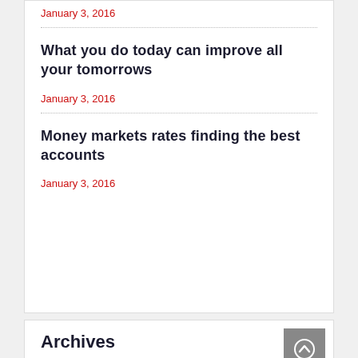January 3, 2016
What you do today can improve all your tomorrows
January 3, 2016
Money markets rates finding the best accounts
January 3, 2016
Archives
September 2020